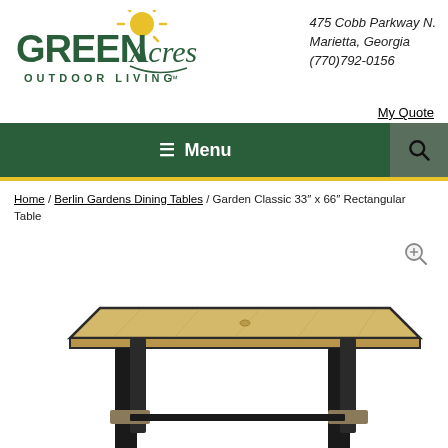[Figure (logo): Green Acres Outdoor Living logo with stylized sun and script text]
475 Cobb Parkway N.
Marietta, Georgia
(770)792-0156
My Quote
≡ Menu
Home / Berlin Gardens Dining Tables / Garden Classic 33" x 66" Rectangular Table
[Figure (photo): Garden Classic 33" x 66" Rectangular Table product photo showing a rectangular outdoor dining table with black metal frame and light wood-tone top, viewed from a slight angle]